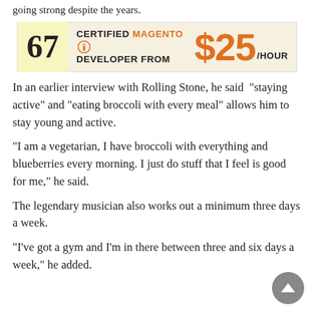going strong despite the years.
[Figure (infographic): Advertisement banner: '67 CERTIFIED MAGENTO DEVELOPER FROM $25/HOUR']
In an earlier interview with Rolling Stone, he said “staying active” and “eating broccoli with every meal” allows him to stay young and active.
“I am a vegetarian, I have broccoli with everything and blueberries every morning. I just do stuff that I feel is good for me,” he said.
The legendary musician also works out a minimum three days a week.
“I’ve got a gym and I’m in there between three and six days a week,” he added.